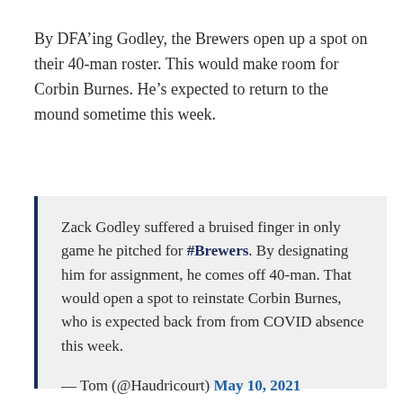By DFA'ing Godley, the Brewers open up a spot on their 40-man roster. This would make room for Corbin Burnes. He's expected to return to the mound sometime this week.
Zack Godley suffered a bruised finger in only game he pitched for #Brewers. By designating him for assignment, he comes off 40-man. That would open a spot to reinstate Corbin Burnes, who is expected back from from COVID absence this week.
— Tom (@Haudricourt) May 10, 2021